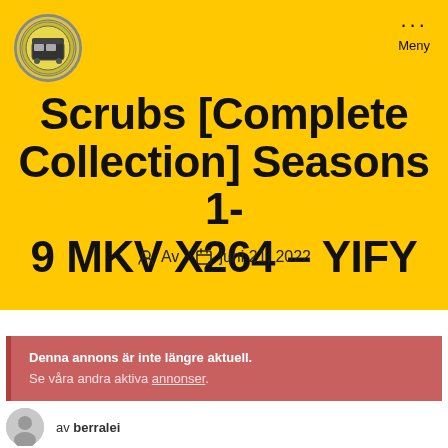[Figure (logo): Circular logo badge with yellow and grey tones, appears to show a vehicle or bus icon]
··· Meny
Scrubs [Complete Collection] Seasons 1-9 MKV X264 – YIFY
Av  juni 21, 2022
Denna annons är inte längre aktuell. Se våra andra aktiva annonser.
av berralei